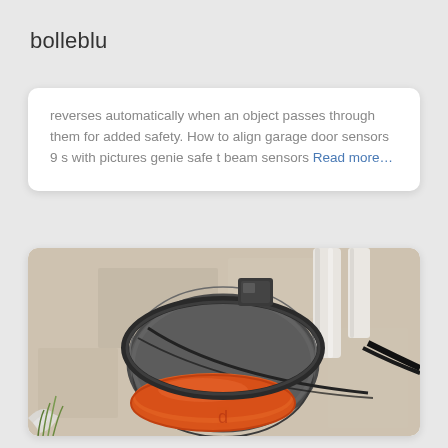bolleblu
reverses automatically when an object passes through them for added safety. How to align garage door sensors 9 s with pictures genie safe t beam sensors Read more…
[Figure (photo): Close-up photo of a garage door sensor wrapped in gray tape/material with an orange cap/cover, mounted near a wall corner with wires visible.]